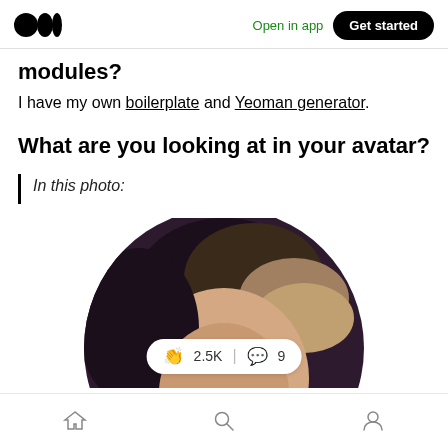Medium logo | Open in app | Get started
modules?
I have my own boilerplate and Yeoman generator.
What are you looking at in your avatar?
In this photo:
[Figure (photo): A circular avatar photo showing a person's face/head partially visible against a dark purple background, with a reaction bar showing 2.5K claps and 9 comments overlaid at the bottom.]
Home | Search | Profile navigation icons